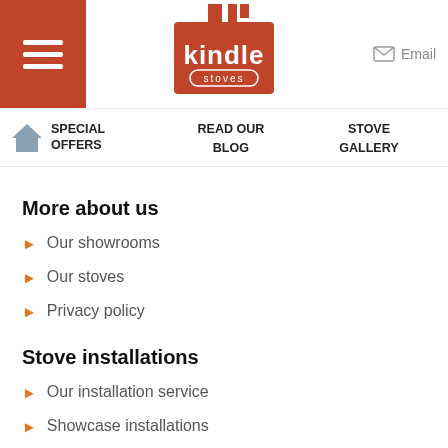Kindle Stoves — menu and email header
SPECIAL OFFERS
READ OUR BLOG
STOVE GALLERY
More about us
Our showrooms
Our stoves
Privacy policy
Stove installations
Our installation service
Showcase installations
Need a survey?